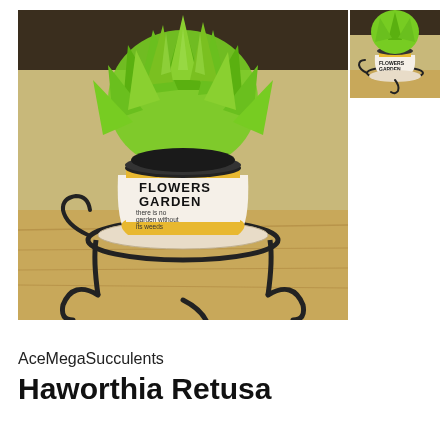[Figure (photo): Main product photo: a Haworthia Retusa succulent plant in a white and yellow ceramic pot labeled 'FLOWERS GARDEN there is no garden without its weeds', displayed on a black ornamental iron stand on a wooden surface.]
[Figure (photo): Thumbnail photo: same Haworthia Retusa succulent plant in the same decorated pot and iron stand, viewed from a slightly different angle.]
AceMegaSucculents
Haworthia Retusa